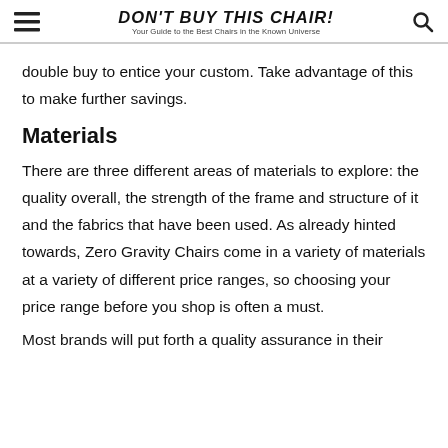DON'T BUY THIS CHAIR! Your Guide to the Best Chairs in the Known Universe
double buy to entice your custom. Take advantage of this to make further savings.
Materials
There are three different areas of materials to explore: the quality overall, the strength of the frame and structure of it and the fabrics that have been used. As already hinted towards, Zero Gravity Chairs come in a variety of materials at a variety of different price ranges, so choosing your price range before you shop is often a must.
Most brands will put forth a quality assurance in their